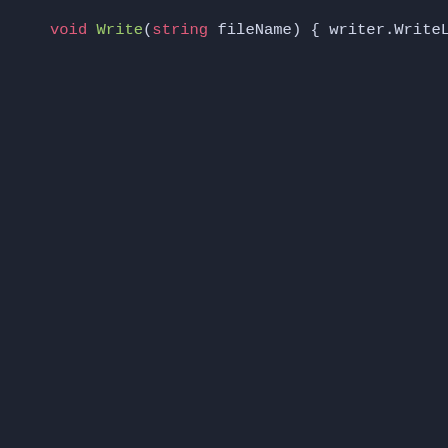[Figure (screenshot): Code editor screenshot showing C# source code with syntax highlighting on a dark background. The code shows two methods: 'void Write(string fileName)' which calls writer.WriteLine and several Write overloads with string literals and GetTime delegates, and 'void Write(string msg, GetTime getTi...)' which declares a string variable 'time', uses a try block assigning time = getTime(fileName).ToString..., and a catch (Exception ex) block.]